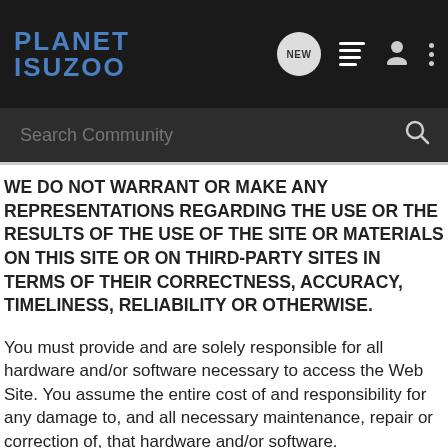[Figure (screenshot): Planet Isuzoo website navigation header with logo, NEW button, list icon, user icon, and more icon on dark background]
[Figure (screenshot): Search Community input bar with magnifier icon on dark grey background]
WE DO NOT WARRANT OR MAKE ANY REPRESENTATIONS REGARDING THE USE OR THE RESULTS OF THE USE OF THE SITE OR MATERIALS ON THIS SITE OR ON THIRD-PARTY SITES IN TERMS OF THEIR CORRECTNESS, ACCURACY, TIMELINESS, RELIABILITY OR OTHERWISE.
You must provide and are solely responsible for all hardware and/or software necessary to access the Web Site. You assume the entire cost of and responsibility for any damage to, and all necessary maintenance, repair or correction of, that hardware and/or software.
The Web Site is provided for informational purposes only, and is not intended for trading or investing purposes, or for commercial use. The Web Site should not be used in any high risk activities where damage or injury to persons, property, environment,